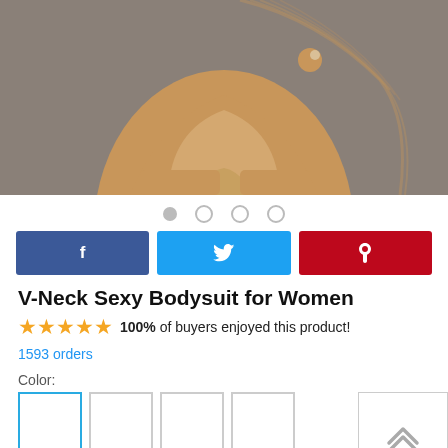[Figure (photo): Product photo of a woman wearing a beige/nude V-neck bodysuit, cropped to show torso and hips area]
● ○ ○ ○ (image carousel dots)
f (Facebook share button)
🐦 (Twitter share button)
℗ (Pinterest share button)
V-Neck Sexy Bodysuit for Women
★★★★★ 100% of buyers enjoyed this product! 1593 orders
Color:
Size: